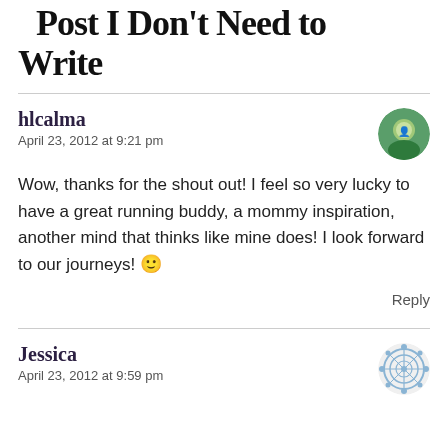Post I Don't Need to Write
hlcalma
April 23, 2012 at 9:21 pm
Wow, thanks for the shout out! I feel so very lucky to have a great running buddy, a mommy inspiration, another mind that thinks like mine does! I look forward to our journeys! 🙂
Reply
Jessica
April 23, 2012 at 9:59 pm